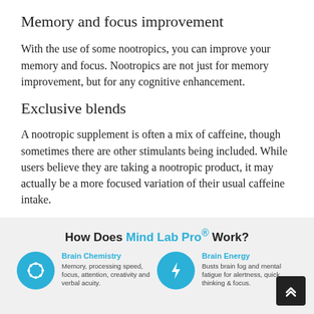Memory and focus improvement
With the use of some nootropics, you can improve your memory and focus. Nootropics are not just for memory improvement, but for any cognitive enhancement.
Exclusive blends
A nootropic supplement is often a mix of caffeine, though sometimes there are other stimulants being included. While users believe they are taking a nootropic product, it may actually be a more focused variation of their usual caffeine intake.
[Figure (infographic): Infographic titled 'How Does Mind Lab Pro® Work?' with two columns: 'Brain Chemistry' (Memory, processing speed, focus, attention, creativity and verbal acuity) and 'Brain Energy' (Busts brain fog and mental fatigue for alertness, quick thinking & focus), each with a teal circular icon.]